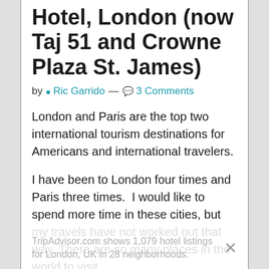Hotel, London (now Taj 51 and Crowne Plaza St. James)
by Ric Garrido — 3 Comments
London and Paris are the top two international tourism destinations for Americans and international travelers.
I have been to London four times and Paris three times.  I would like to spend more time in these cities, but my travels have not worked out that way. There are so many places in the world to visit.
TripAdvisor.com shows 1,079 hotel listings for London, UK in 28 neighborhoods.